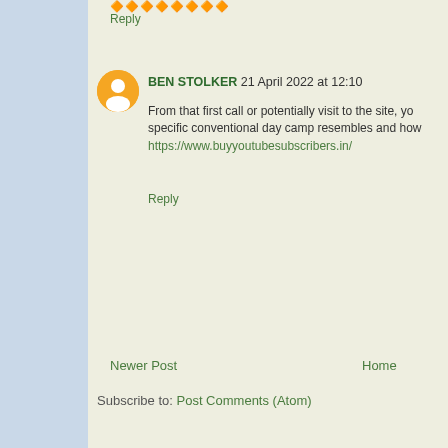🔶🔶🔶🔶🔶🔶🔶🔶
Reply
BEN STOLKER  21 April 2022 at 12:10
From that first call or potentially visit to the site, you specific conventional day camp resembles and how https://www.buyyoutubesubscribers.in/
Reply
Newer Post
Home
Subscribe to: Post Comments (Atom)